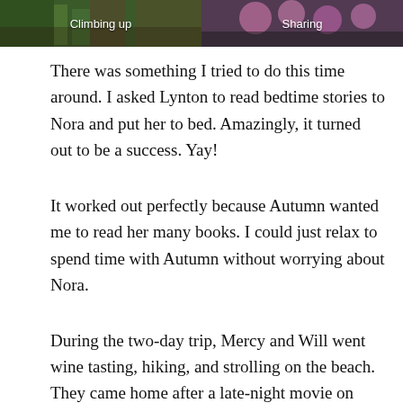[Figure (photo): Two photos side by side at top of page. Left photo shows green plants/garden with caption 'Climbing up'. Right photo shows pink/purple flowers with caption 'Sharing'.]
There was something I tried to do this time around. I asked Lynton to read bedtime stories to Nora and put her to bed. Amazingly, it turned out to be a success. Yay!
It worked out perfectly because Autumn wanted me to read her many books. I could just relax to spend time with Autumn without worrying about Nora.
During the two-day trip, Mercy and Will went wine tasting, hiking, and strolling on the beach. They came home after a late-night movie on Sunday. I was happy that they had a wonderful time.
Monday was the Memorial Day holiday. We went on a family walk together. The girls rode their bikes, and